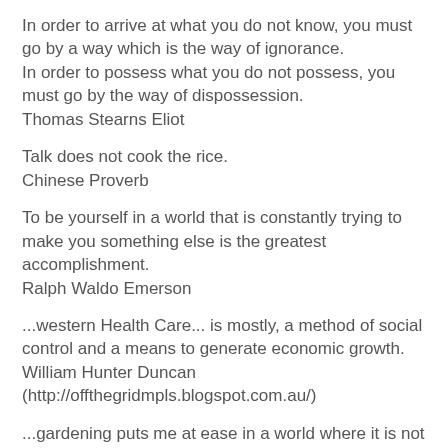In order to arrive at what you do not know, you must go by a way which is the way of ignorance.
In order to possess what you do not possess, you must go by the way of dispossession.
Thomas Stearns Eliot
Talk does not cook the rice.
Chinese Proverb
To be yourself in a world that is constantly trying to make you something else is the greatest accomplishment.
Ralph Waldo Emerson
...western Health Care... is mostly, a method of social control and a means to generate economic growth.
William Hunter Duncan
(http://offthegridmpls.blogspot.com.au/)
...gardening puts me at ease in a world where it is not easy to be at ease, comforted in the knowledge that, should the world change, I will be ready, or more ready anyway, than I would be had I pretended I am not part of this earth, that I am not part of ecosystems. I am of this